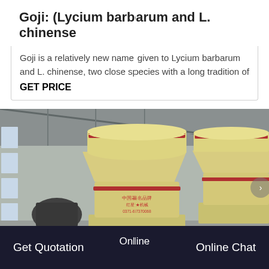Goji: (Lycium barbarum and L. chinense
Goji is a relatively new name given to Lycium barbarum and L. chinense, two close species with a long tradition of
GET PRICE
[Figure (photo): Industrial interior of a factory or warehouse with large cream/yellow-colored cone crusher machines. Chinese text and a phone number are printed on the central machine. Multiple similar machines are visible in the background.]
Get Quotation   Online   Online Chat